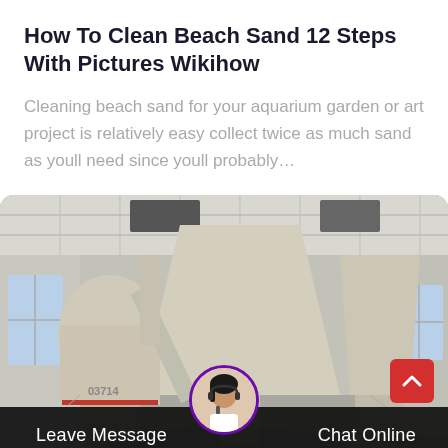How To Clean Beach Sand 12 Steps With Pictures Wikihow
Cleaning beach sand for your aquarium garden or art project is relatively easy collect twice as much sand as youll need since youll probably…
[Figure (photo): Industrial interior showing large industrial machinery, likely grain or sand processing equipment with silos and ductwork, inside a warehouse building.]
Leave Message   Chat Online